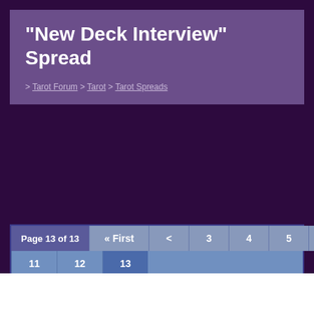"New Deck Interview" Spread
> Tarot Forum > Tarot > Tarot Spreads
Page 13 of 13  « First  <  3  4  5  6  7  8  9  10  11  12  13